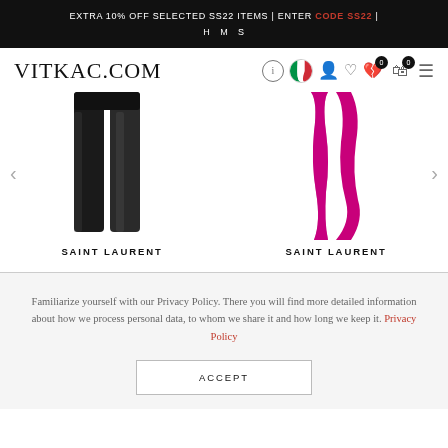EXTRA 10% OFF SELECTED SS22 ITEMS | ENTER CODE SS22 |
H M S
VITKAC.COM
[Figure (photo): Two black leather trousers/pants shown side by side (product listing image)]
SAINT LAURENT
[Figure (photo): Two fuchsia/magenta fabric pieces shown side by side (product listing image)]
SAINT LAURENT
Familiarize yourself with our Privacy Policy. There you will find more detailed information about how we process personal data, to whom we share it and how long we keep it. Privacy Policy
ACCEPT